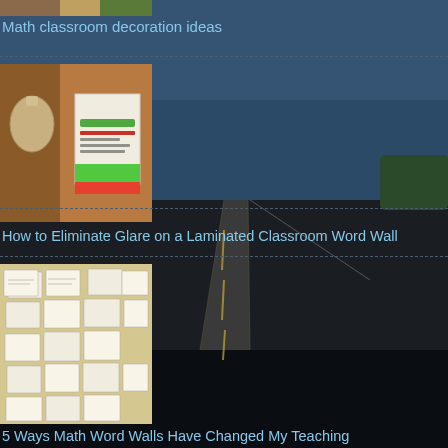[Figure (photo): Partial thumbnail image of math classroom decoration at top of page (cut off)]
Math classroom decoration ideas
[Figure (photo): Thumbnail showing a laminated classroom word wall card with green and red design, alongside a jar/bottle]
How to Eliminate Glare on a Laminated Classroom Word Wall
[Figure (photo): Thumbnail showing a bulletin board covered with many small white index cards arranged in a grid pattern on beige background]
5 Ways Math Word Walls Have Changed My Teaching